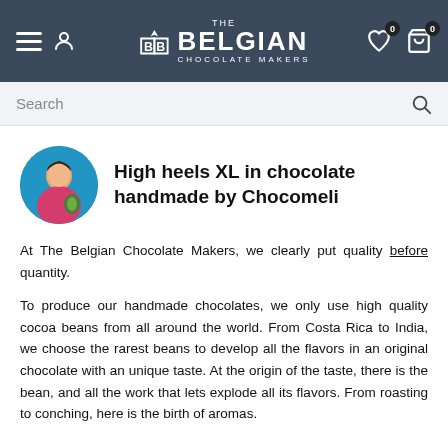THE BELGIAN CHOCOLATE MAKERS — Navigation bar with hamburger menu, user icon, logo, heart (0) and cart (0) icons
Search
High heels XL in chocolate handmade by Chocomeli
At The Belgian Chocolate Makers, we clearly put quality before quantity.
To produce our handmade chocolates, we only use high quality cocoa beans from all around the world. From Costa Rica to India, we choose the rarest beans to develop all the flavors in an original chocolate with an unique taste. At the origin of the taste, there is the bean, and all the work that lets explode all its flavors. From roasting to conching, here is the birth of aromas.